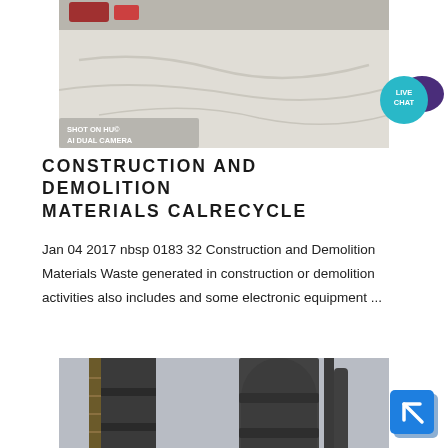[Figure (photo): Aerial or ground-level view of a large white/grey flat surface, possibly a construction or demolition site with vehicle tracks. Text overlay: 'SHOT ON HU...' and 'AI DUAL CAMERA']
[Figure (illustration): Live Chat badge icon — teal circle with 'LIVE CHAT' text and speech bubble]
CONSTRUCTION AND DEMOLITION MATERIALS CALRECYCLE
Jan 04 2017 nbsp 0183 32 Construction and Demolition Materials Waste generated in construction or demolition activities also includes and some electronic equipment ...
[Figure (photo): Industrial silos/towers viewed from below against a grey sky — dark metal cylindrical structures with scaffolding/ladders]
[Figure (illustration): Blue square arrow badge/icon pointing upper-right]